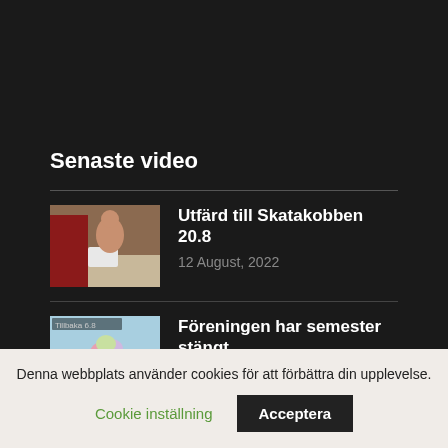Senaste video
[Figure (photo): Thumbnail of a person sitting outside near a red building]
Utfärd till Skatakobben 20.8
12 August, 2022
[Figure (photo): Thumbnail of an ice cream cone with rocks and sea in background, text overlay 'Tillbaka 6.8']
Föreningen har semester stängt
30 June, 2022
Denna webbplats använder cookies för att förbättra din upplevelse.
Cookie inställning
Acceptera